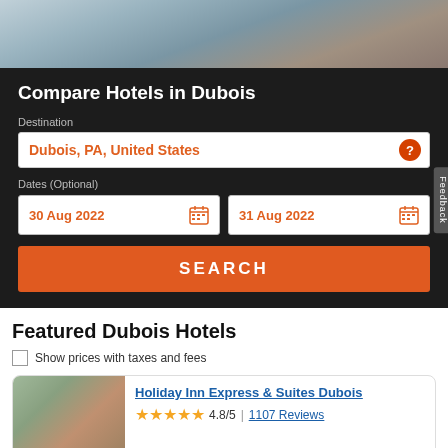[Figure (photo): Photo banner showing people, partially visible at top of page]
Compare Hotels in Dubois
Destination
Dubois, PA, United States
Dates (Optional)
30 Aug 2022
31 Aug 2022
SEARCH
Featured Dubois Hotels
Show prices with taxes and fees
Holiday Inn Express & Suites Dubois
4.8/5 | 1107 Reviews